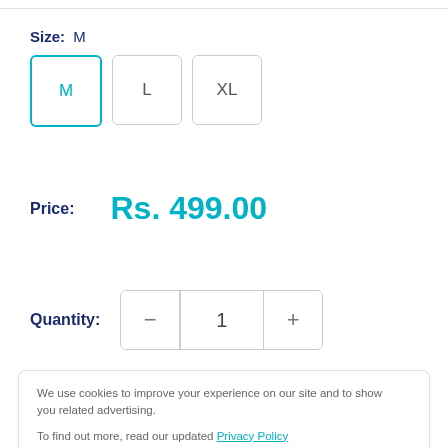Size: M
M  L  XL
Price:  Rs. 499.00
Quantity:  1
We use cookies to improve your experience on our site and to show you related advertising.
To find out more, read our updated Privacy Policy
Accept